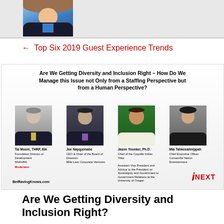[Figure (photo): Top portion of a headshot photo of a man in a blue shirt and dark suit jacket, cropped at the top of the page]
← Top Six 2019 Guest Experience Trends
[Figure (infographic): Panel discussion promotional image titled 'Are We Getting Diversity and Inclusion Right – How Do We Manage this Issue not Only from a Staffing Perspective but from a Human Perspective?' featuring four speakers: Tal Moore THRP MA (Foundation Director of Development NNAHRA, Moderator), Joe Nayquonabe (CEO & Chair of the Board of Directors Mille Lacs Corporate Ventures), Jason Younker Ph.D. (Chief of the Coquille Indian Tribe, Assistant Vice President and Advisor to the President on Sovereignty and Government to Government Relations at the University of Oregon), and Mia Tahkooahnippah (Chief Executive Officer Comanche Nation Entertainment). BetRavingKnows.com and iNEXT logos shown.]
Are We Getting Diversity and Inclusion Right?